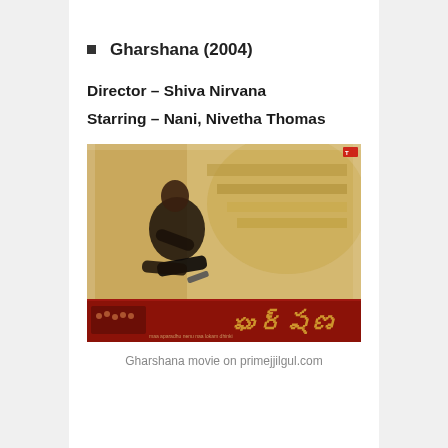Gharshana (2004)
Director – Shiva Nirvana
Starring – Nani, Nivetha Thomas
[Figure (photo): Movie poster for Gharshana featuring a man in dark clothes sitting with a gun, sepia-toned background, red banner at bottom with Telugu script title]
Gharshana movie on primejjilgul.com